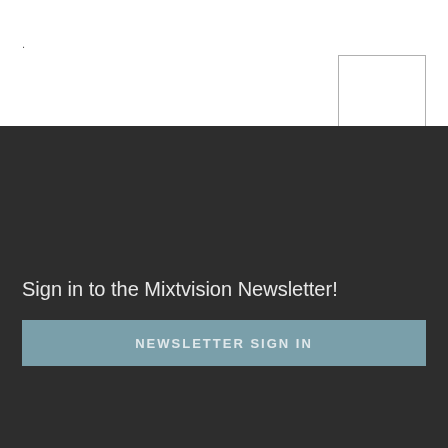.
[Figure (other): White rectangle box outline in upper right of white section]
Sign in to the Mixtvision Newsletter!
NEWSLETTER SIGN IN
PROTECTION OF PRIVACY   IMPRINT